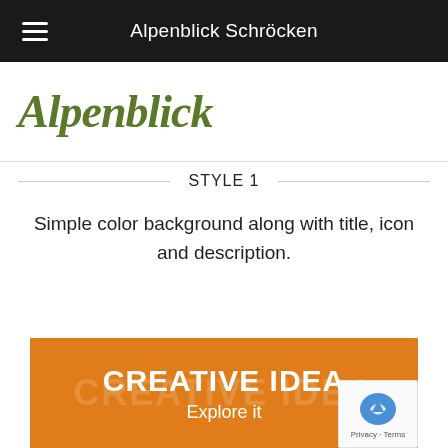Alpenblick Schröcken
[Figure (logo): Alpenblick cursive green logo text]
STYLE 1
Simple color background along with title, icon and description.
[Figure (infographic): Orange banner with CREATIVE IDEA title and Explore it subtitle]